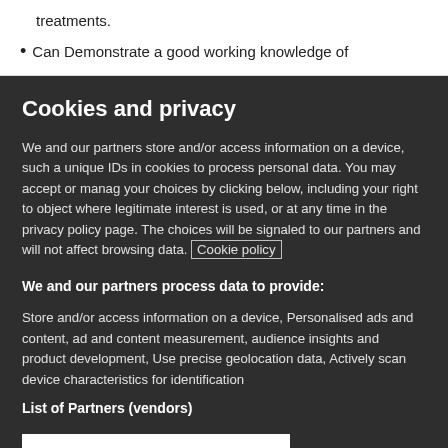treatments.
Can Demonstrate a good working knowledge of
Cookies and privacy
We and our partners store and/or access information on a device, such a unique IDs in cookies to process personal data. You may accept or manag your choices by clicking below, including your right to object where legitimate interest is used, or at any time in the privacy policy page. The choices will be signaled to our partners and will not affect browsing data. Cookie policy
We and our partners process data to provide:
Store and/or access information on a device, Personalised ads and content, ad and content measurement, audience insights and product development, Use precise geolocation data, Actively scan device characteristics for identification
List of Partners (vendors)
I Accept